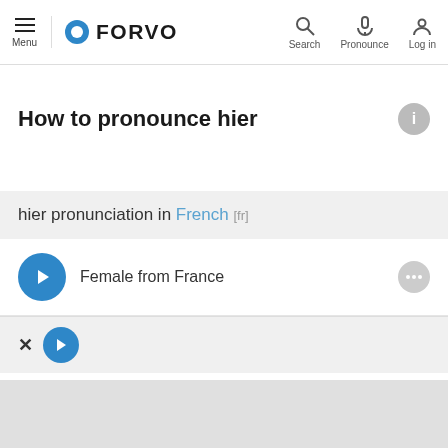Menu | FORVO | Search | Pronounce | Log in
How to pronounce hier
hier pronunciation in French [fr]
Female from France